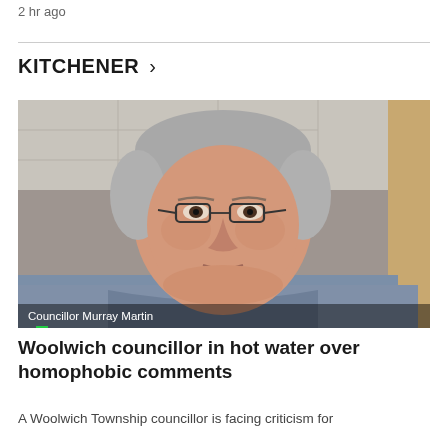2 hr ago
KITCHENER >
[Figure (photo): Video still of Councillor Murray Martin, an older white man with gray hair and glasses wearing a blue shirt, captured in a video call. Caption overlay reads 'Councillor Murray Martin'.]
Woolwich councillor in hot water over homophobic comments
A Woolwich Township councillor is facing criticism for